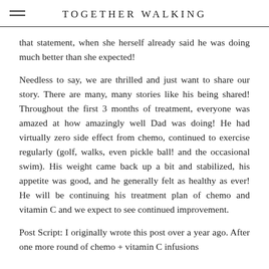TOGETHER WALKING
that statement, when she herself already said he was doing much better than she expected!
Needless to say, we are thrilled and just want to share our story. There are many, many stories like his being shared! Throughout the first 3 months of treatment, everyone was amazed at how amazingly well Dad was doing! He had virtually zero side effect from chemo, continued to exercise regularly (golf, walks, even pickle ball! and the occasional swim). His weight came back up a bit and stabilized, his appetite was good, and he generally felt as healthy as ever! He will be continuing his treatment plan of chemo and vitamin C and we expect to see continued improvement.
Post Script: I originally wrote this post over a year ago. After one more round of chemo + vitamin C infusions